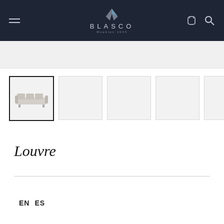BLASCO — Muebles 1945
[Figure (screenshot): Gray placeholder strip below header navigation]
[Figure (photo): Row of product thumbnail images: first thumbnail (active/selected) shows a sofa illustration; remaining four thumbnails are gray placeholders]
Louvre
EN  ES